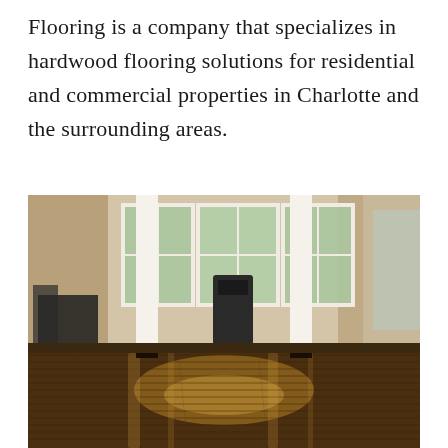Flooring is a company that specializes in hardwood flooring solutions for residential and commercial properties in Charlotte and the surrounding areas.
[Figure (photo): Interior hallway with freshly finished, highly glossy dark hardwood floors reflecting light and white columns; windows visible in background.]